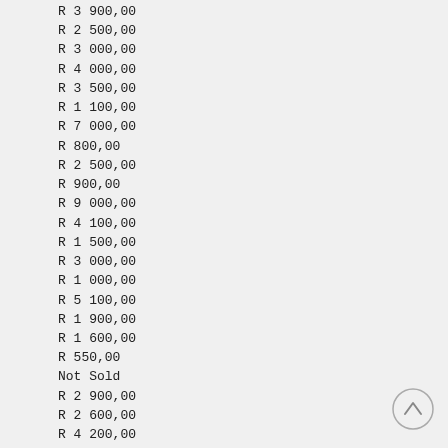R 3 900,00
R 2 500,00
R 3 000,00
R 4 000,00
R 3 500,00
R 1 100,00
R 7 000,00
R 800,00
R 2 500,00
R 900,00
R 9 000,00
R 4 100,00
R 1 500,00
R 3 000,00
R 1 000,00
R 5 100,00
R 1 900,00
R 1 600,00
R 550,00
Not Sold
R 2 900,00
R 2 600,00
R 4 200,00
?
R 3 100,00